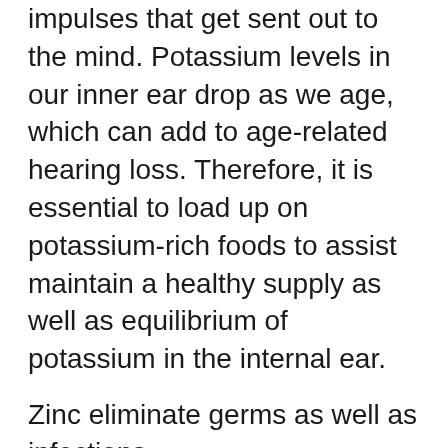impulses that get sent out to the mind. Potassium levels in our inner ear drop as we age, which can add to age-related hearing loss. Therefore, it is essential to load up on potassium-rich foods to assist maintain a healthy supply as well as equilibrium of potassium in the internal ear.
Zinc eliminate germs as well as infections
This micronutrient is understood for its immune-boosting powers and also ability to aid eradicate colds. Zinc helps activate and generate T-cells (T-lymphocytes)– our bodies' defender cells that are especially developed to acknowledge and also destroy microorganisms, viruses as well as other intruders. While researches have actually